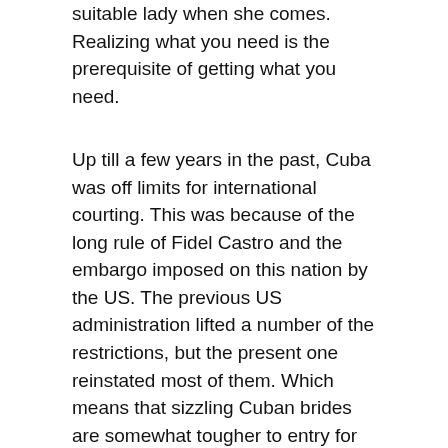suitable lady when she comes. Realizing what you need is the prerequisite of getting what you need.
Up till a few years in the past, Cuba was off limits for international courting. This was because of the long rule of Fidel Castro and the embargo imposed on this nation by the US. The previous US administration lifted a number of the restrictions, but the present one reinstated most of them. Which means that sizzling Cuban brides are somewhat tougher to entry for People, whereas residents of all other international locations should have no trouble getting romantically concerned with them.
cuban girl hot
Need of the Cuban ladies to fulfill the man for date is precipitated to start with by the fact that, as well as all different ladies on the earth, they need and deserve